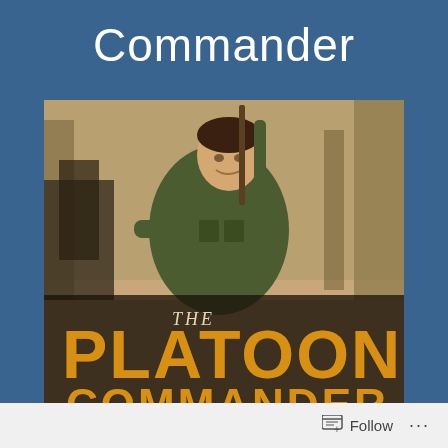Commander
[Figure (photo): Book cover for 'The Platoon Commander' showing a young soldier in military fatigues holding a rifle with one arm raised, set against a jungle/forest background. The title 'THE PLATOON' appears in large golden/orange letters at the bottom, with 'COMMANDER' partially visible below.]
Follow ...